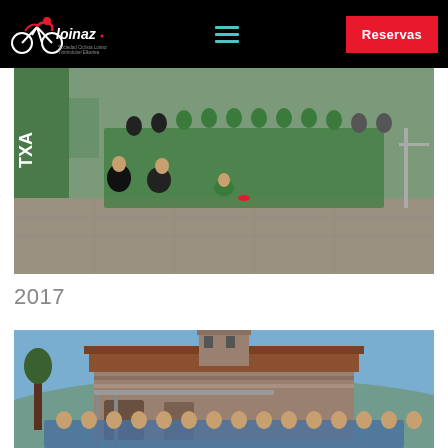[Figure (logo): Loinaz cycling club logo with stylized cyclist and text 'loinaz' with tagline 'Sociedad Ciclista Loinaz Txirrindulari Elkartea']
[Figure (photo): Group photo of cycling team in green jerseys with two adults kneeling in front, outdoors at an event with green banner showing 'TXA']
2017
[Figure (photo): Group photo of cycling team in blue jerseys standing in front of a stone building with a bell tower and tiled roof, clear blue sky]